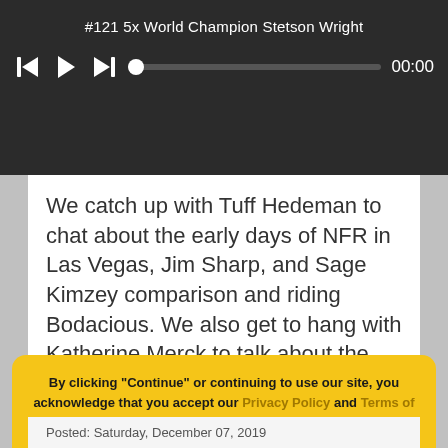#121 5x World Champion Stetson Wright
[Figure (other): Audio player controls with skip-back, play, skip-forward buttons, a progress bar, and time display showing 00:00]
We catch up with Tuff Hedeman to chat about the early days of NFR in Las Vegas, Jim Sharp, and Sage Kimzey comparison and riding Bodacious. We also get to hang with Katherine Merck to talk about the success that follows winning Miss Rodeo America in 2016, rodeo timing, her love for roughstock events and Christmas ornaments.
By clicking "Continue" or continuing to use our site, you acknowledge that you accept our Privacy Policy and Terms of Use.
Continue
Posted: Saturday, December 07, 2019